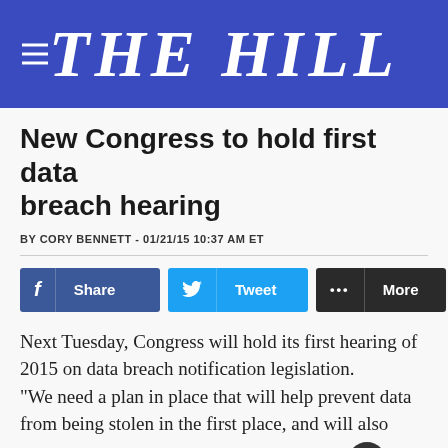THE HILL
New Congress to hold first data breach hearing
BY CORY BENNETT - 01/21/15 10:37 AM ET
[Figure (infographic): Social share buttons: Facebook Share, Twitter Tweet, More (ellipsis)]
Next Tuesday, Congress will hold its first hearing of 2015 on data breach notification legislation.
“We need a plan in place that will help prevent data from being stolen in the first place, and will also alleviate consequences for consumers if hackers are successful,” said Rep. Michael Burgess (R-Texas), chairman of the House Subcommittee on Commerce, Manufacturing and Trade, which will hold